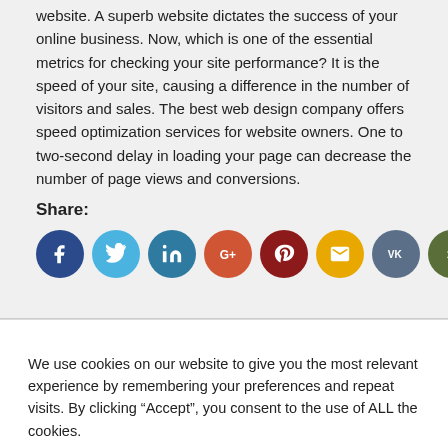website. A superb website dictates the success of your online business. Now, which is one of the essential metrics for checking your site performance? It is the speed of your site, causing a difference in the number of visitors and sales. The best web design company offers speed optimization services for website owners. One to two-second delay in loading your page can decrease the number of page views and conversions.
Share:
[Figure (infographic): Row of 10 social media share icon circles: Facebook (dark blue), Twitter (light blue), LinkedIn (dark teal), Google+ (orange-red), Pinterest (dark red), Email (amber/yellow), VK (slate blue), Xing (dark olive), Tumblr (dark navy), Reddit (orange)]
We use cookies on our website to give you the most relevant experience by remembering your preferences and repeat visits. By clicking “Accept”, you consent to the use of ALL the cookies.